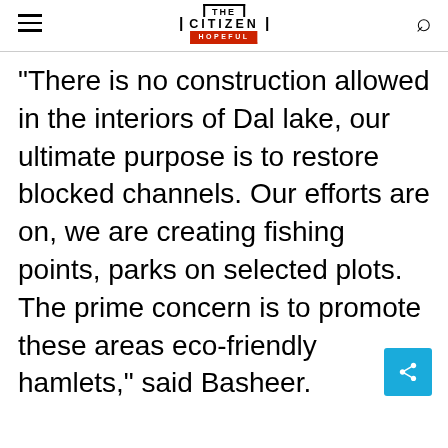THE CITIZEN IS HOPEFUL
"There is no construction allowed in the interiors of Dal lake, our ultimate purpose is to restore blocked channels. Our efforts are on, we are creating fishing points, parks on selected plots. The prime concern is to promote these areas eco-friendly hamlets," said Basheer.